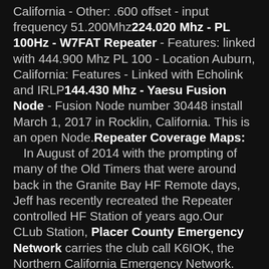California - Other: .600 offset - input frequency 51.200Mhz 224.020 Mhz - PL 100Hz - W7FAT Repeater - Features: linked with 444.900 Mhz PL 100 - Location Auburn, California: Features - Linked with Echolink and IRLP 144.430 Mhz - Yaesu Fusion Node - Fusion Node number 30448 install March 1, 2017 in Rocklin, California. This is an open Node. Repeater Coverage Maps: In August of 2014 with the prompting of many of the Old Timers that were around back in the Granite Bay HF Remote days, Jeff has recently recreated the Repeater controlled HF Station of years ago. Our CLub Station, Placer County Emergency Network carries the club call K6IOK, the Northern California Emergency Network. The HF remote is fully controlled through the UHF Repeater on 444.475 and/or the connected VHF repeater on 145.130. Available functions include changing to any frequency or mode you want,